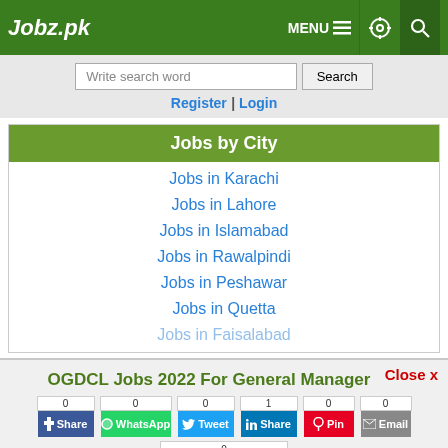Jobz.pk | MENU | settings | search
Write search word | Search
Register | Login
Jobs by City
Jobs in Karachi
Jobs in Lahore
Jobs in Islamabad
Jobs in Rawalpindi
Jobs in Peshawar
Jobs in Quetta
Jobs in Faisalabad
Close x
OGDCL Jobs 2022 For General Manager
0 Share | 0 WhatsApp | 0 Tweet | 1 Share | 0 Pin | 0 Email
0 Recommend
Job Closed | Save | Comment | Print